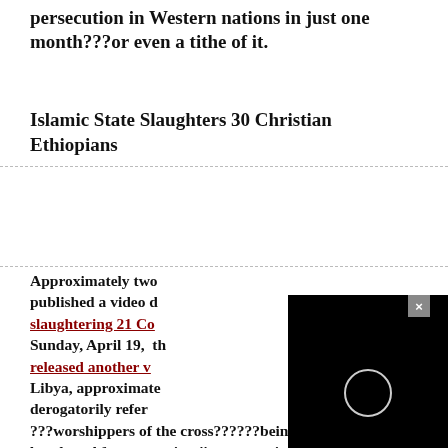persecution in Western nations in just one month???or even a tithe of it.
Islamic State Slaughters 30 Christian Ethiopians
Approximately two months after the Islamic State published a video depicting the beheadings and slaughtering 21 Coptic Christians in Libya, on Sunday, April 19, the Islamic State (ISIS/ISIL) released another video showing more killings in Libya, approximately 30 Ethiopians Christians, derogatorily referred to by their Islamic captors as ???worshippers of the cross??????being butchered for not paying jizya, extortion money demanded of the ???People of the Book??? who refuse to convert to Islam, according to Koran
[Figure (screenshot): Black video player overlay with a circular loading/play indicator and a close (x) button in the top right corner]